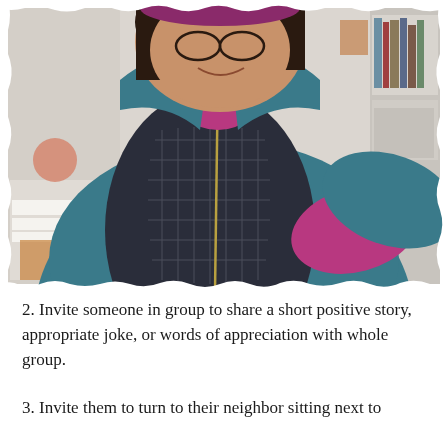[Figure (photo): A smiling woman wearing a teal/blue fleece jacket over a dark quilted vest with a magenta/purple turtleneck underneath. She is taking a selfie in what appears to be a home office or study, with bookshelves and artwork visible in the background. The photo has a slightly torn or rough white border effect.]
2. Invite someone in group to share a short positive story, appropriate joke, or words of appreciation with whole group.
3. Invite them to turn to their neighbor sitting next to them. "Stand up if possible. Each take 30-40 seconds to t...